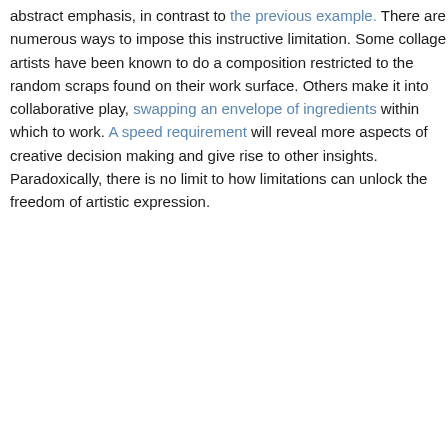abstract emphasis, in contrast to the previous example. There are numerous ways to impose this instructive limitation. Some collage artists have been known to do a composition restricted to the random scraps found on their work surface. Others make it into collaborative play, swapping an envelope of ingredients within which to work. A speed requirement will reveal more aspects of creative decision making and give rise to other insights. Paradoxically, there is no limit to how limitations can unlock the freedom of artistic expression.